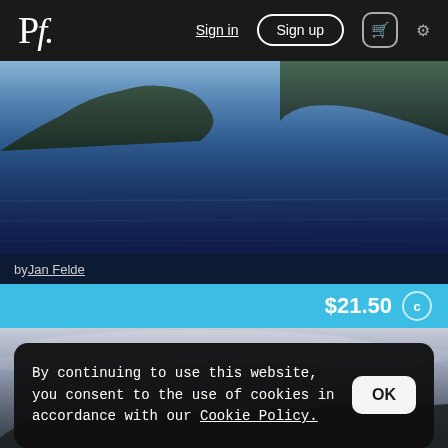Pf. Sign in  Sign up  🛒  ⚙
[Figure (photo): Long-exposure blue seascape with rocky islands and smooth water]
by Jan Felde
$21.50 ©
[Figure (photo): Landscape with cloudy sky at dusk]
By continuing to use this website, you consent to the use of cookies in accordance with our Cookie Policy.